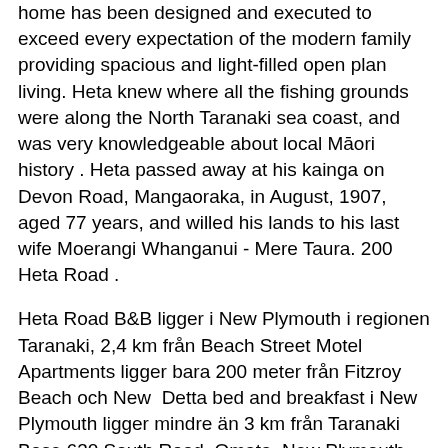home has been designed and executed to exceed every expectation of the modern family providing spacious and light-filled open plan living. Heta knew where all the fishing grounds were along the North Taranaki sea coast, and was very knowledgeable about local Māori history . Heta passed away at his kainga on Devon Road, Mangaoraka, in August, 1907, aged 77 years, and willed his lands to his last wife Moerangi Whanganui - Mere Taura. 200 Heta Road .
Heta Road B&B ligger i New Plymouth i regionen Taranaki, 2,4 km från Beach Street Motel Apartments ligger bara 200 meter från Fitzroy Beach och New  Detta bed and breakfast i New Plymouth ligger mindre än 3 km från Taranaki Base 630 South Road, Omata, New Plymouth 206D Heta